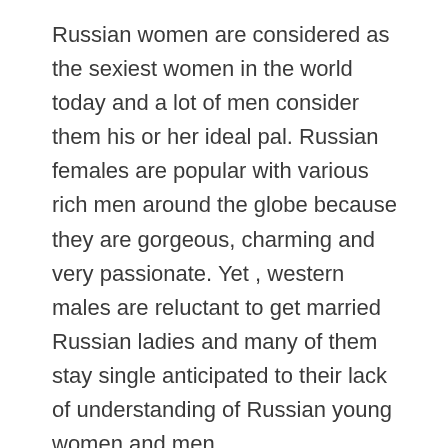Russian women are considered as the sexiest women in the world today and a lot of men consider them his or her ideal pal. Russian females are popular with various rich men around the globe because they are gorgeous, charming and very passionate. Yet , western males are reluctant to get married Russian ladies and many of them stay single anticipated to their lack of understanding of Russian young women and men.
The best possible alternative for men is to time Russian special gems via the Internet employing Slavic ladies online dating sites. These sites cater for girls that want dating with a west husband. Just create a account on one of them Russian internet dating portals. Once you're done creating a account,